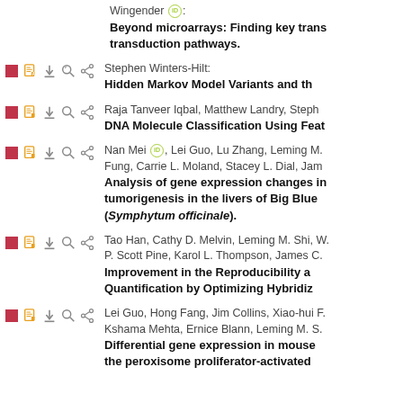Wingender: Beyond microarrays: Finding key trans transduction pathways.
Stephen Winters-Hilt: Hidden Markov Model Variants and th
Raja Tanveer Iqbal, Matthew Landry, Steph: DNA Molecule Classification Using Feat
Nan Mei, Lei Guo, Lu Zhang, Leming M., Fung, Carrie L. Moland, Stacey L. Dial, Jam: Analysis of gene expression changes in tumorigenesis in the livers of Big Blue (Symphytum officinale).
Tao Han, Cathy D. Melvin, Leming M. Shi, W., P. Scott Pine, Karol L. Thompson, James C.: Improvement in the Reproducibility a Quantification by Optimizing Hybridiz
Lei Guo, Hong Fang, Jim Collins, Xiao-hui F., Kshama Mehta, Ernice Blann, Leming M. S.: Differential gene expression in mouse the peroxisome proliferator-activated